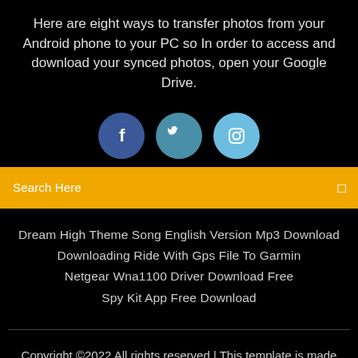Here are eight ways to transfer photos from your Android phone to your PC so In order to access and download your synced photos, open your Google Drive.
[Figure (illustration): Three social media icon circles: Facebook (dark blue), Twitter (slate blue), Instagram (light blue)]
Search Here
Dream High Theme Song English Version Mp3 Download
Downloading Ride With Gps File To Garmin
Netgear Wna1100 Driver Download Free
Spy Kit App Free Download
Copyright ©2022 All rights reserved | This template is made with ♡ by Colorlib